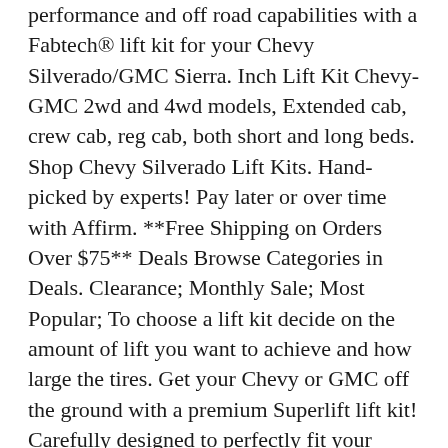performance and off road capabilities with a Fabtech® lift kit for your Chevy Silverado/GMC Sierra. Inch Lift Kit Chevy-GMC 2wd and 4wd models, Extended cab, crew cab, reg cab, both short and long beds. Shop Chevy Silverado Lift Kits. Hand-picked by experts! Pay later or over time with Affirm. **Free Shipping on Orders Over $75** Deals Browse Categories in Deals. Clearance; Monthly Sale; Most Popular; To choose a lift kit decide on the amount of lift you want to achieve and how large the tires. Get your Chevy or GMC off the ground with a premium Superlift lift kit! Carefully designed to perfectly fit your Chevy or GMC and your rugged lifestyle. FREE SHIPPING. x. Search. Suspension Kits. x. · - Silverado/Sierra 4WD · - Silverado/Sierra 2WD. FREE SHIPPING. starting at $/mo with Affirm* Starting. Fabtech offers a wide range of lift kits for the Chevy Silverado From 2" to 6" systems, Fabtech has the right lift